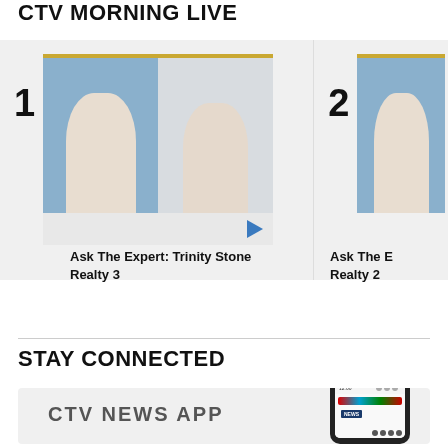CTV MORNING LIVE
[Figure (screenshot): Video thumbnail 1: TV studio with two women, one presenter in floral blouse, one guest via video call. Gold top bar. Item numbered 1.]
Ask The Expert: Trinity Stone Realty 3
[Figure (screenshot): Video thumbnail 2 (partially visible): TV studio with presenter. Item numbered 2.]
Ask The Expert: Trinity Stone Realty 2
STAY CONNECTED
[Figure (screenshot): CTV News App promotional card with phone mockup showing CTV News app interface. Text: CTV NEWS APP]